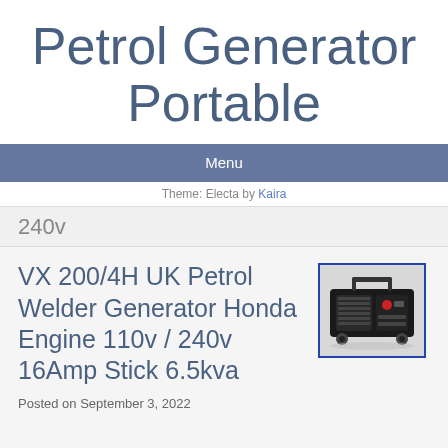Petrol Generator Portable
Menu
Theme: Electa by Kaira
240v
VX 200/4H UK Petrol Welder Generator Honda Engine 110v / 240v 16Amp Stick 6.5kva
[Figure (photo): Photo of a portable petrol welder generator, black metal frame with engine components visible]
Posted on September 3, 2022